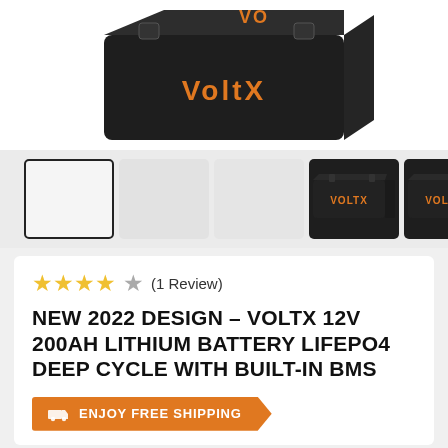[Figure (photo): VoltX 12V 200Ah lithium battery product image, dark grey/black rectangular battery with orange VoltX branding on top, shown against white background]
[Figure (photo): Thumbnail image strip showing: selected (first thumbnail, white/empty selected state), two empty grey thumbnails, and two product thumbnails showing VoltX battery from different angles, plus a right navigation arrow]
★★★★☆ (1 Review)
NEW 2022 DESIGN - VOLTX 12V 200AH LITHIUM BATTERY LIFEPO4 DEEP CYCLE WITH BUILT-IN BMS
🚚 ENJOY FREE SHIPPING